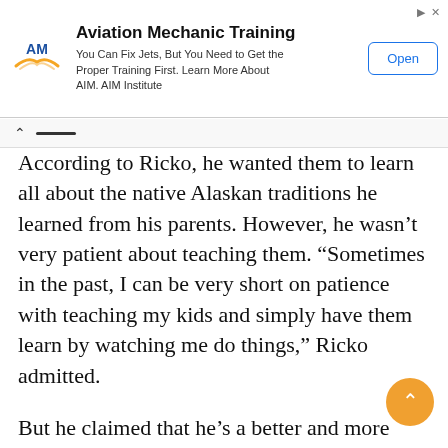[Figure (other): Advertisement banner for Aviation Mechanic Training by AIM Institute. Contains AIM logo, headline 'Aviation Mechanic Training', body text 'You Can Fix Jets, But You Need to Get the Proper Training First. Learn More About AIM. AIM Institute', and an 'Open' button.]
According to Ricko, he wanted them to learn all about the native Alaskan traditions he learned from his parents. However, he wasn't very patient about teaching them. “Sometimes in the past, I can be very short on patience with teaching my kids and simply have them learn by watching me do things,” Ricko admitted.
But he claimed that he’s a better and more patient father now. In his words, “Being on Life Below Zero has helped me be a more patient father.”